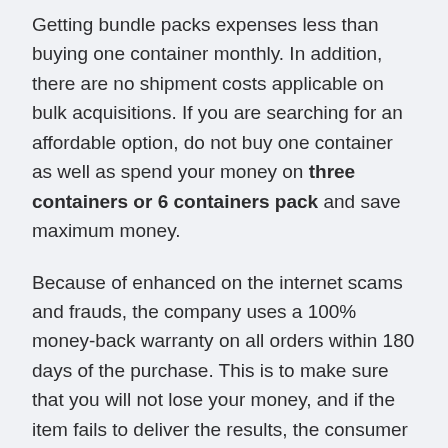Getting bundle packs expenses less than buying one container monthly. In addition, there are no shipment costs applicable on bulk acquisitions. If you are searching for an affordable option, do not buy one container as well as spend your money on three containers or 6 containers pack and save maximum money.
Because of enhanced on the internet scams and frauds, the company uses a 100% money-back warranty on all orders within 180 days of the purchase. This is to make sure that you will not lose your money, and if the item fails to deliver the results, the consumer will certainly get his cash back from the firm.